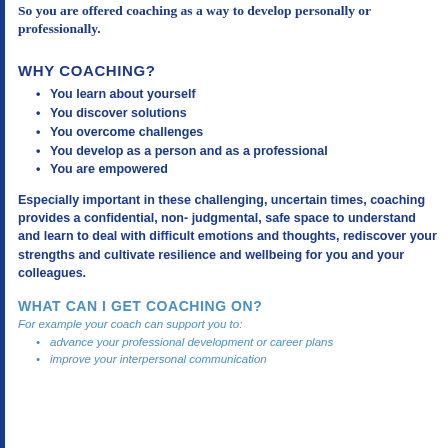So you are offered coaching as a way to develop personally or professionally.
WHY COACHING?
You learn about yourself
You discover solutions
You overcome challenges
You develop as a person and as a professional
You are empowered
Especially important in these challenging, uncertain times, coaching provides a confidential, non- judgmental, safe space to understand and learn to deal with difficult emotions and thoughts, rediscover your strengths and cultivate resilience and wellbeing for you and your colleagues.
WHAT CAN I GET COACHING ON?
For example your coach can support you to:
advance your professional development or career plans
improve your interpersonal communication